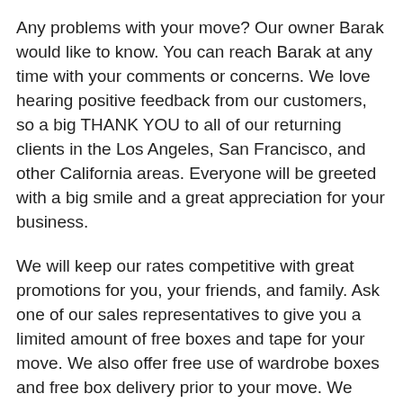Any problems with your move? Our owner Barak would like to know. You can reach Barak at any time with your comments or concerns. We love hearing positive feedback from our customers, so a big THANK YOU to all of our returning clients in the Los Angeles, San Francisco, and other California areas. Everyone will be greeted with a big smile and a great appreciation for your business.
We will keep our rates competitive with great promotions for you, your friends, and family. Ask one of our sales representatives to give you a limited amount of free boxes and tape for your move. We also offer free use of wardrobe boxes and free box delivery prior to your move. We hope to hear from you soon!